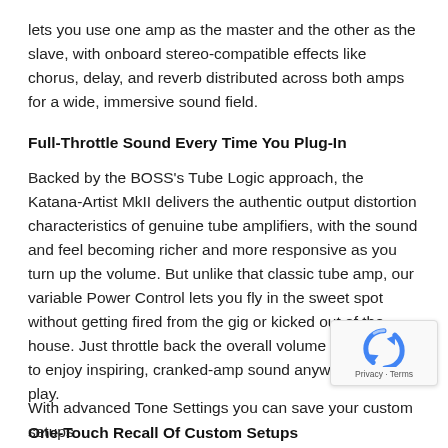lets you use one amp as the master and the other as the slave, with onboard stereo-compatible effects like chorus, delay, and reverb distributed across both amps for a wide, immersive sound field.
Full-Throttle Sound Every Time You Plug-In
Backed by the BOSS's Tube Logic approach, the Katana-Artist MkII delivers the authentic output distortion characteristics of genuine tube amplifiers, with the sound and feel becoming richer and more responsive as you turn up the volume. But unlike that classic tube amp, our variable Power Control lets you fly in the sweet spot without getting fired from the gig or kicked out of the house. Just throttle back the overall volume as needed to enjoy inspiring, cranked-amp sound anywhere you play.
One-Touch Recall Of Custom Setups
With advanced Tone Settings you can save your custom setups